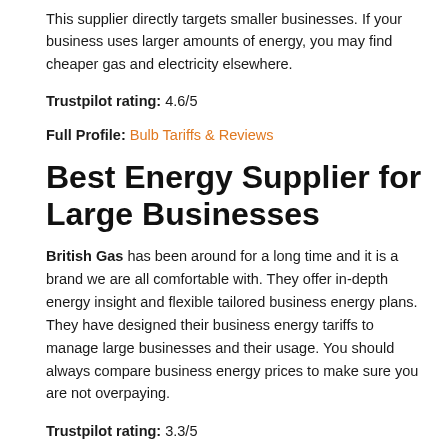This supplier directly targets smaller businesses. If your business uses larger amounts of energy, you may find cheaper gas and electricity elsewhere.
Trustpilot rating: 4.6/5
Full Profile: Bulb Tariffs & Reviews
Best Energy Supplier for Large Businesses
British Gas has been around for a long time and it is a brand we are all comfortable with. They offer in-depth energy insight and flexible tailored business energy plans. They have designed their business energy tariffs to manage large businesses and their usage. You should always compare business energy prices to make sure you are not overpaying.
Trustpilot rating: 3.3/5